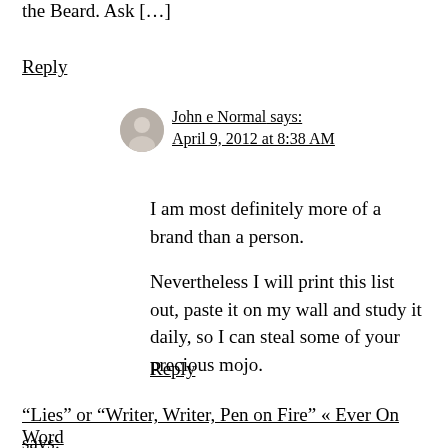the Beard. Ask […]
Reply
John e Normal says:
April 9, 2012 at 8:38 AM
I am most definitely more of a brand than a person.
Nevertheless I will print this list out, paste it on my wall and study it daily, so I can steal some of your precious mojo.
Reply
“Lies” or “Writer, Writer, Pen on Fire” « Ever On Word says: